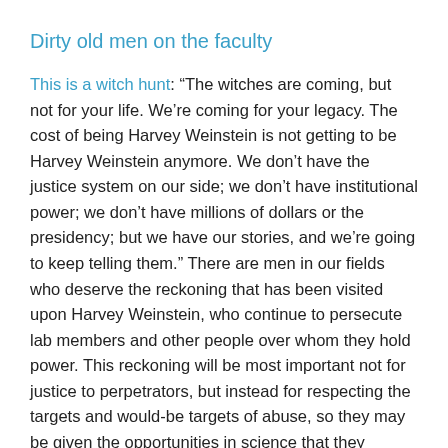Dirty old men on the faculty
This is a witch hunt: “The witches are coming, but not for your life. We’re coming for your legacy. The cost of being Harvey Weinstein is not getting to be Harvey Weinstein anymore. We don’t have the justice system on our side; we don’t have institutional power; we don’t have millions of dollars or the presidency; but we have our stories, and we’re going to keep telling them.” There are men in our fields who deserve the reckoning that has been visited upon Harvey Weinstein, who continue to persecute lab members and other people over whom they hold power. This reckoning will be most important not for justice to perpetrators, but instead for respecting the targets and would-be targets of abuse, so they may be given the opportunities in science that they deserve.